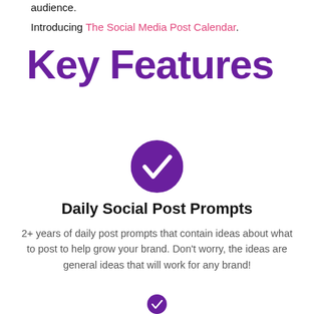audience.
Introducing The Social Media Post Calendar.
Key Features
[Figure (illustration): Purple circle with white checkmark icon]
Daily Social Post Prompts
2+ years of daily post prompts that contain ideas about what to post to help grow your brand. Don't worry, the ideas are general ideas that will work for any brand!
[Figure (illustration): Purple circle with white checkmark icon (partially visible at bottom)]